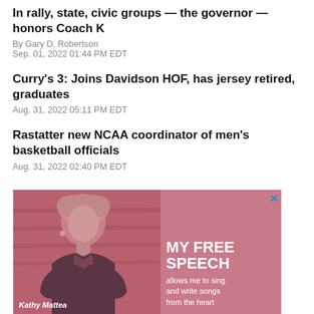In rally, state, civic groups — the governor — honors Coach K
By Gary D. Robertson
Sep. 01, 2022 01:44 PM EDT
Curry's 3: Joins Davidson HOF, has jersey retired, graduates
Aug. 31, 2022 05:11 PM EDT
Rastatter new NCAA coordinator of men's basketball officials
Aug. 31, 2022 02:40 PM EDT
[Figure (photo): Advertisement featuring Kathy Mattea with text 'MY FREE SPEECH allows me to sing and write songs from the heart']